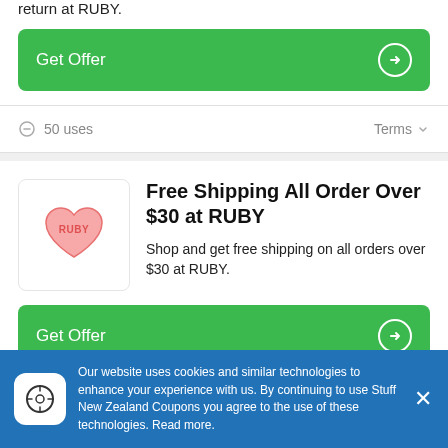return at RUBY.
Get Offer
50 uses
Terms
Free Shipping All Order Over $30 at RUBY
Shop and get free shipping on all orders over $30 at RUBY.
Get Offer
Our website uses cookies and similar technologies to enhance your experience with us. By continuing to use Stuff New Zealand Coupons you agree to the use of these technologies. Read more.